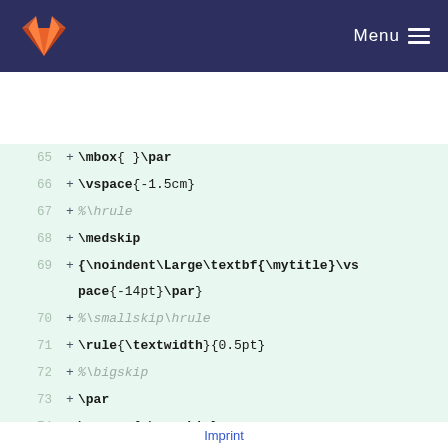GitLab — Menu
[Figure (screenshot): Code diff view showing LaTeX source lines 65–82 with added lines marked with + signs on a light green background]
Imprint